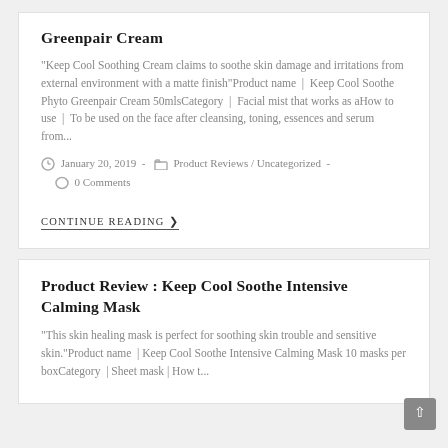Greenpair Cream
"Keep Cool Soothing Cream claims to soothe skin damage and irritations from external environment with a matte finish"Product name | Keep Cool Soothe Phyto Greenpair Cream 50mlsCategory | Facial mist that works as aHow to use | To be used on the face after cleansing, toning, essences and serum from...
January 20, 2019  -  Product Reviews / Uncategorized  -
0 Comments
CONTINUE READING ❯
Product Review : Keep Cool Soothe Intensive Calming Mask
"This skin healing mask is perfect for soothing skin trouble and sensitive skin."Product name | Keep Cool Soothe Intensive Calming Mask 10 masks per boxCategory | Sheet mask | How t...